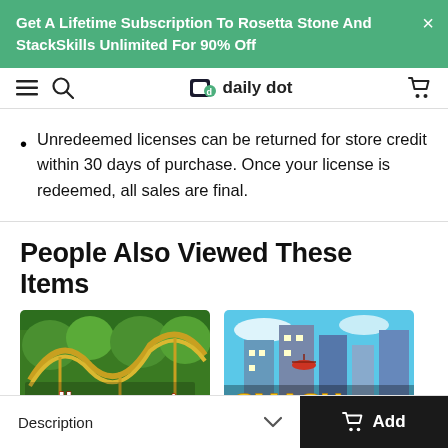Get A Lifetime Subscription To Rosetta Stone And StackSkills Unlimited For 90% Off
daily dot
Unredeemed licenses can be returned for store credit within 30 days of purchase. Once your license is redeemed, all sales are final.
People Also Viewed These Items
[Figure (screenshot): RollerCoaster game thumbnail - roller coaster track with green trees background]
[Figure (screenshot): City building game thumbnail - cityscape with helicopters, SMASH text in yellow]
Description
Add